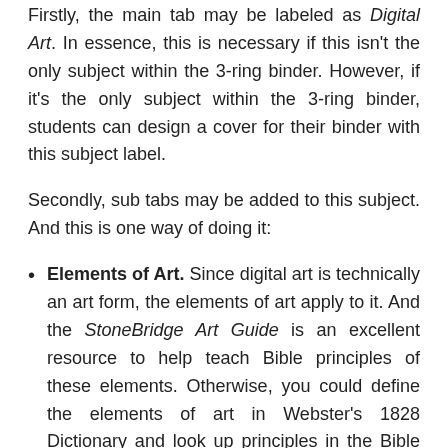Firstly, the main tab may be labeled as Digital Art. In essence, this is necessary if this isn't the only subject within the 3-ring binder. However, if it's the only subject within the 3-ring binder, students can design a cover for their binder with this subject label.
Secondly, sub tabs may be added to this subject. And this is one way of doing it:
Elements of Art. Since digital art is technically an art form, the elements of art apply to it. And the StoneBridge Art Guide is an excellent resource to help teach Bible principles of these elements. Otherwise, you could define the elements of art in Webster's 1828 Dictionary and look up principles in the Bible on your own.
Elements of Photography. And this can be divided further into these tabs: 1. Exposure; 2. Aperture; 3.